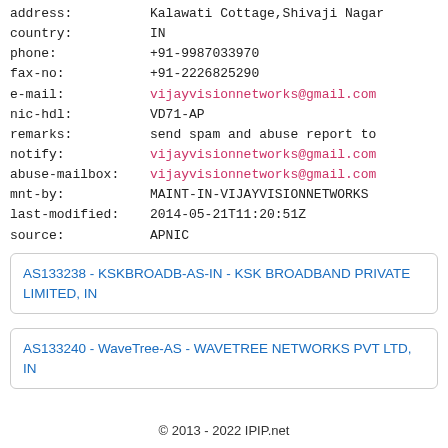address: Kalawati Cottage,Shivaji Nagar
country: IN
phone: +91-9987033970
fax-no: +91-2226825290
e-mail: vijayvisionnetworks@gmail.com
nic-hdl: VD71-AP
remarks: send spam and abuse report to
notify: vijayvisionnetworks@gmail.com
abuse-mailbox: vijayvisionnetworks@gmail.com
mnt-by: MAINT-IN-VIJAYVISIONNETWORKS
last-modified: 2014-05-21T11:20:51Z
source: APNIC
AS133238 - KSKBROADB-AS-IN - KSK BROADBAND PRIVATE LIMITED, IN
AS133240 - WaveTree-AS - WAVETREE NETWORKS PVT LTD, IN
© 2013 - 2022 IPIP.net